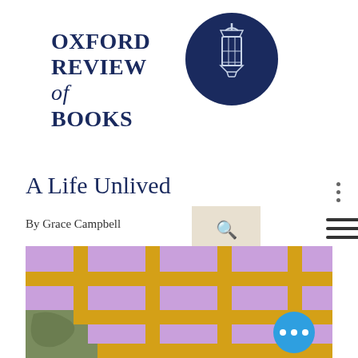OXFORD REVIEW of BOOKS
[Figure (logo): Oxford Review of Books circular lantern logo in dark navy blue]
[Figure (other): Search box with magnifying glass icon and hamburger menu icon]
A Life Unlived
By Grace Campbell
[Figure (map): Stylized urban map with lavender/purple blocks, yellow-gold roads and streets, olive/dark green park areas, on a light lavender background. A blue circular floating action button with three white dots appears in the lower right.]